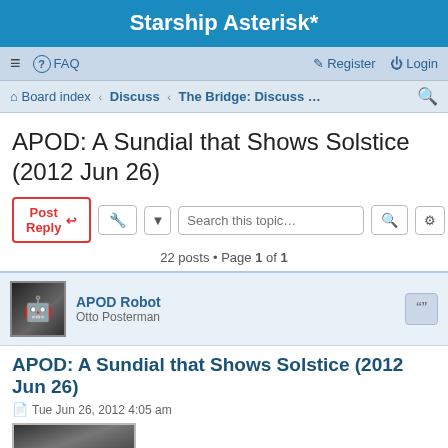Starship Asterisk*
≡  FAQ    Register  Login
Board index · Discuss · The Bridge: Discuss …
APOD: A Sundial that Shows Solstice (2012 Jun 26)
Post Reply  [tool]  Search this topic...  22 posts • Page 1 of 1
APOD Robot
Otto Posterman
APOD: A Sundial that Shows Solstice (2012 Jun 26)
Tue Jun 26, 2012 4:05 am
A Sundial that Shows Solstice
Explanation: What time is it? If the time and day are right, this sundial will tell you: SOLSTICE. Only then will the Sun be located just right for sunlight to stream through openings and spell out the term for the longest